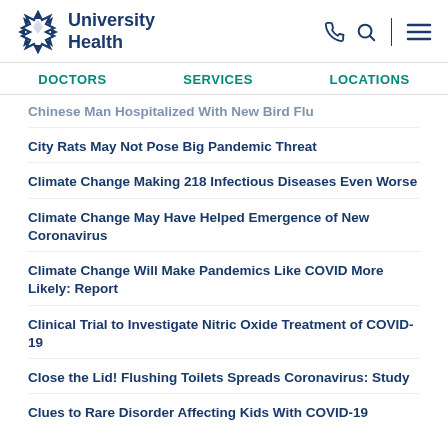University Health
City Rats May Not Pose Big Pandemic Threat
Climate Change Making 218 Infectious Diseases Even Worse
Climate Change May Have Helped Emergence of New Coronavirus
Climate Change Will Make Pandemics Like COVID More Likely: Report
Clinical Trial to Investigate Nitric Oxide Treatment of COVID-19
Close the Lid! Flushing Toilets Spreads Coronavirus: Study
Clues to Rare Disorder Affecting Kids With COVID-19